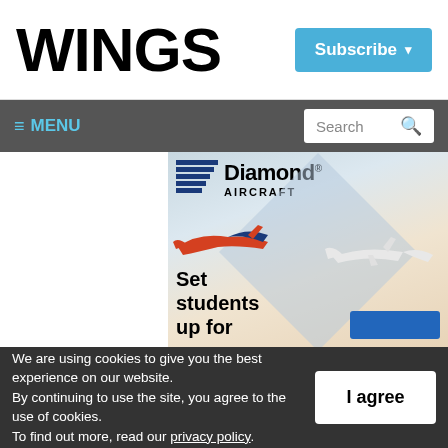WINGS
Subscribe ▾
≡ MENU
Search
[Figure (photo): Diamond Aircraft advertisement showing two small aircraft in flight with text 'Set students up for' and a blue button. Diamond Aircraft logo with blue diamond shape at top.]
We are using cookies to give you the best experience on our website.
By continuing to use the site, you agree to the use of cookies.
To find out more, read our privacy policy.
I agree